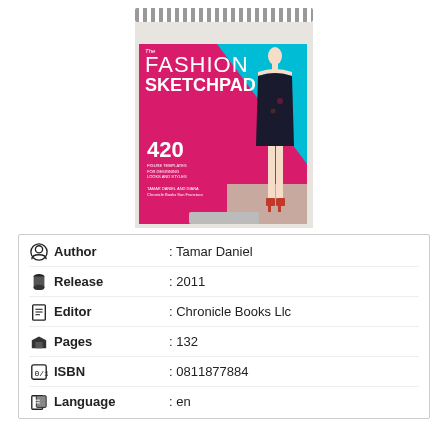[Figure (photo): Book cover of 'The Fashion Sketchpad' by Tamar Daniel, showing a fashion sketchpad with spiral binding, pink/magenta and teal cover design, a female figure in a black dress, and '420' prominently displayed.]
| Author | : Tamar Daniel |
| Release | : 2011 |
| Editor | : Chronicle Books Llc |
| Pages | : 132 |
| ISBN | : 0811877884 |
| Language | : en |